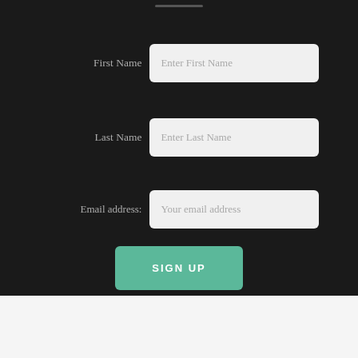First Name
Enter First Name
Last Name
Enter Last Name
Email address:
Your email address
SIGN UP
WordPress.com.